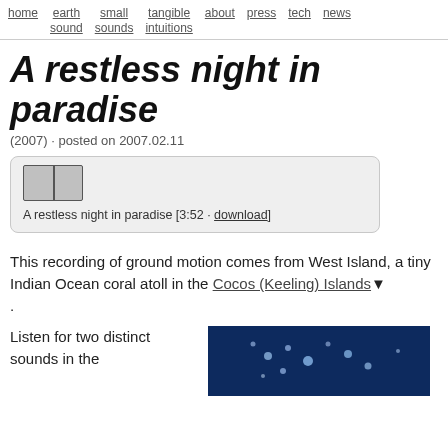home | earth sound | small sounds | tangible intuitions | about | press | tech | news
A restless night in paradise
(2007) · posted on 2007.02.11
[Figure (other): Audio player widget for 'A restless night in paradise [3:52 · download]']
This recording of ground motion comes from West Island, a tiny Indian Ocean coral atoll in the Cocos (Keeling) Islands.
Listen for two distinct sounds in the
[Figure (photo): Dark blue underwater or night photo with bright specks/dots, likely bioluminescence or stars]